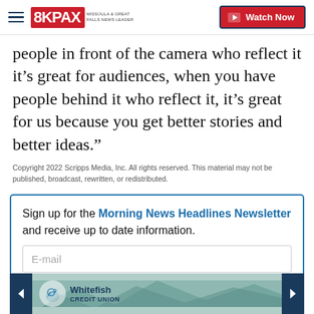8KPAX | Watch Now
people in front of the camera who reflect it it’s great for audiences, when you have people behind it who reflect it, it’s great for us because you get better stories and better ideas.”
Copyright 2022 Scripps Media, Inc. All rights reserved. This material may not be published, broadcast, rewritten, or redistributed.
Sign up for the Morning News Headlines Newsletter and receive up to date information.
E-mail
[Figure (logo): Whitefish Credit Union advertisement banner with teal mountain/forest background and logo]